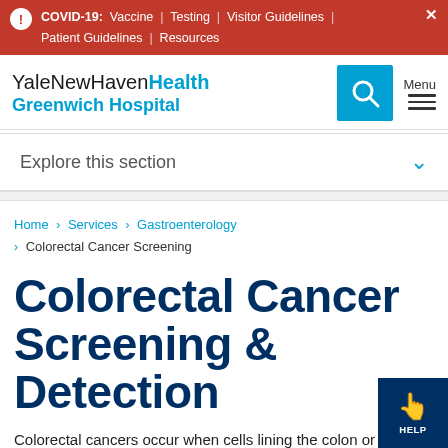COVID-19: Vaccine | Testing | Visitor Guidelines | Patient Guidelines | Resources
[Figure (logo): YaleNewHaven Health Greenwich Hospital logo with search button and menu]
Explore this section
Home > Services > Gastroenterology > Colorectal Cancer Screening
Colorectal Cancer Screening & Detection
Colorectal cancers occur when cells lining the colon or the rectum